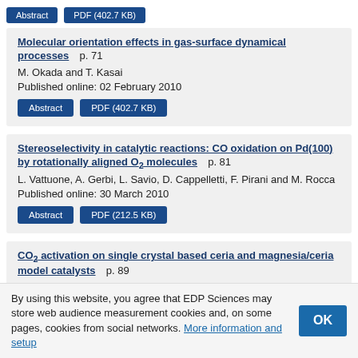[Abstract] [PDF (402.7 KB)] buttons at top
Molecular orientation effects in gas-surface dynamical processes   p. 71
M. Okada and T. Kasai
Published online: 02 February 2010
Stereoselectivity in catalytic reactions: CO oxidation on Pd(100) by rotationally aligned O₂ molecules   p. 81
L. Vattuone, A. Gerbi, L. Savio, D. Cappelletti, F. Pirani and M. Rocca
Published online: 30 March 2010
CO₂ activation on single crystal based ceria and magnesia/ceria model catalysts   p. 89
Y. Lykhach, T. Staudt, R. Streber, M. P.A. Lorenz, A. Bayer, H.-P. Steinrück and J. Libuda
Published online: 07 April 2010
Structure and heterogeneous reaction of Ni/Cu(111) at different temperatures. Fast...
By using this website, you agree that EDP Sciences may store web audience measurement cookies and, on some pages, cookies from social networks. More information and setup